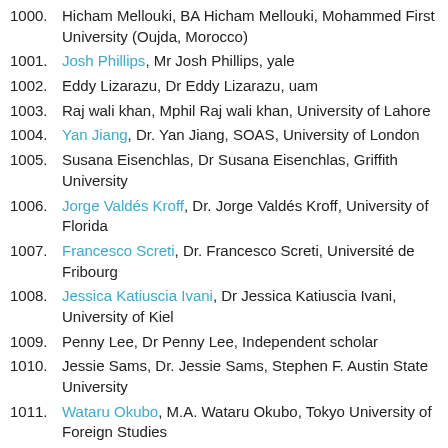1000. Hicham Mellouki, BA Hicham Mellouki, Mohammed First University (Oujda, Morocco)
1001. Josh Phillips, Mr Josh Phillips, yale
1002. Eddy Lizarazu, Dr Eddy Lizarazu, uam
1003. Raj wali khan, Mphil Raj wali khan, University of Lahore
1004. Yan Jiang, Dr. Yan Jiang, SOAS, University of London
1005. Susana Eisenchlas, Dr Susana Eisenchlas, Griffith University
1006. Jorge Valdés Kroff, Dr. Jorge Valdés Kroff, University of Florida
1007. Francesco Screti, Dr. Francesco Screti, Université de Fribourg
1008. Jessica Katiuscia Ivani, Dr Jessica Katiuscia Ivani, University of Kiel
1009. Penny Lee, Dr Penny Lee, Independent scholar
1010. Jessie Sams, Dr. Jessie Sams, Stephen F. Austin State University
1011. Wataru Okubo, M.A. Wataru Okubo, Tokyo University of Foreign Studies
1012. Markus Schiegg, Dr Markus Schiegg, FAU Erlangen-Nürnberg
1013. Oleg Belyaev, Dr. Oleg Belyaev, Lomonosov Moscow State University